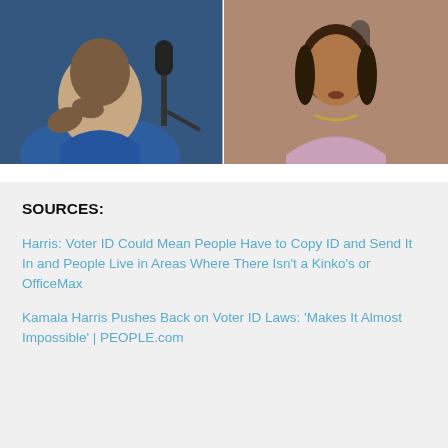[Figure (photo): Split screen photo: left side shows a man in a blue polo shirt gesturing with his hands in front of a microphone; right side shows a woman in a pink/lavender blazer with a necklace speaking, likely Kamala Harris.]
SOURCES:
Harris: Voter ID Could Mean People Have to Copy ID and Send It In and People Live in Areas Where There Isn't a Kinko's or OfficeMax
Kamala Harris Pushes Back on Voter ID Laws: 'Makes It Almost Impossible' | PEOPLE.com